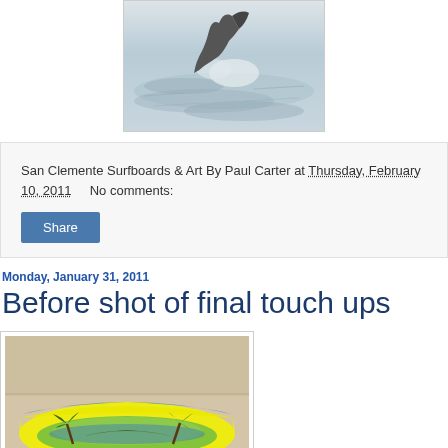[Figure (photo): Black and white photo of a surfer or surfboard in water with splashing waves]
San Clemente Surfboards & Art By Paul Carter at Thursday, February 10, 2011     No comments:
Share
Monday, January 31, 2011
Before shot of final touch ups
[Figure (photo): Colorful painted surfboard showing a tropical scene with palm trees and ocean, with yellow, green, and blue colors]